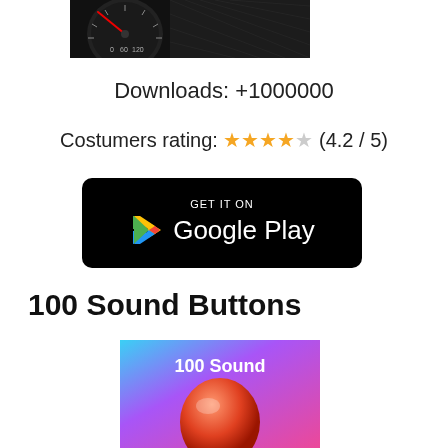[Figure (photo): Car dashboard/speedometer photo at top of page]
Downloads: +1000000
Costumers rating: ★★★★★ (4.2 / 5)
[Figure (logo): GET IT ON Google Play button/badge, black rounded rectangle with Play Store logo and text]
100 Sound Buttons
[Figure (screenshot): 100 Sound Buttons app icon/screenshot showing colorful gradient background with orange button and text '100 Sound']